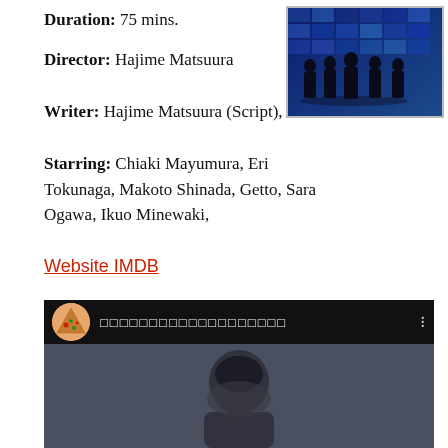Duration: 75 mins.
[Figure (photo): Silhouettes of five people standing against a blue digital/matrix background]
Director: Hajime Matsuura
Writer: Hajime Matsuura (Script),
Starring: Chiaki Mayumura, Eri Tokunaga, Makoto Shinada, Getto, Sara Ogawa, Ikuo Minewaki,
Website IMDB
[Figure (screenshot): Video player UI with pizza icon avatar, Japanese text channel name, and video frame showing a person]